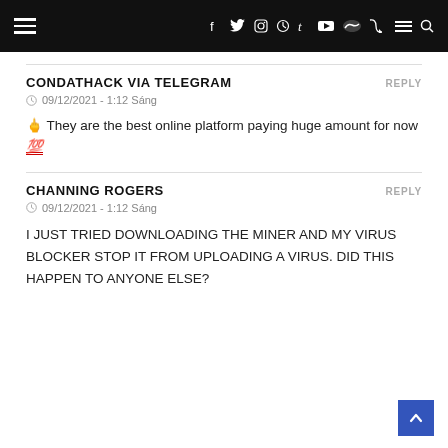Social media navigation header with hamburger menu, social icons (f, twitter, instagram, pinterest, t, youtube, soundcloud, rss), menu lines, and search
CONDATHACK VIA TELEGRAM
09/12/2021 - 1:12 Sáng
🖕 They are the best online platform paying huge amount for now 💯
CHANNING ROGERS
09/12/2021 - 1:12 Sáng
I JUST TRIED DOWNLOADING THE MINER AND MY VIRUS BLOCKER STOP IT FROM UPLOADING A VIRUS. DID THIS HAPPEN TO ANYONE ELSE?